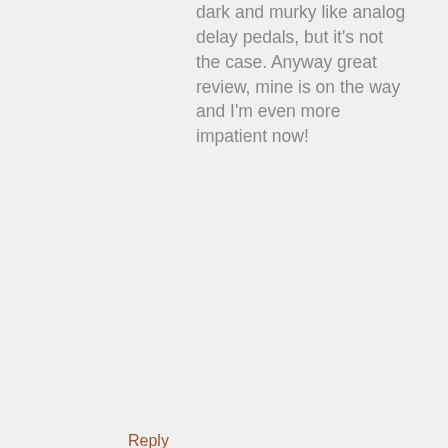dark and murky like analog delay pedals, but it’s not the case. Anyway great review, mine is on the way and I’m even more impatient now!
Reply
Bjorn says:
April 4, 2016 at 8:38 pm
Hi Bud! Mine is the MkII and I